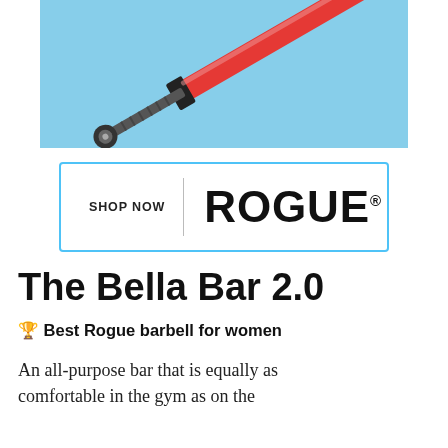[Figure (photo): Product photo of the Rogue Bella Bar 2.0 barbell on a light blue background, showing the end of the bar with red sleeve and black collar]
[Figure (logo): Shop Now button with Rogue logo in a cyan-bordered rectangle]
The Bella Bar 2.0
🏆 Best Rogue barbell for women
An all-purpose bar that is equally as comfortable in the gym as on the